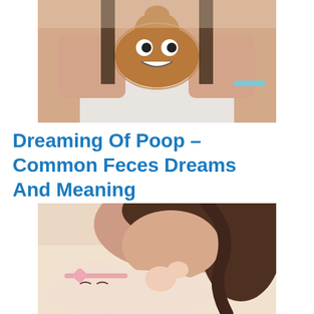[Figure (photo): Person holding a poop emoji toy up to their face, obscuring their eyes. The person has dark hair and is wearing a white top. They have a light blue bracelet on their wrist.]
Dreaming Of Poop – Common Feces Dreams And Meaning
[Figure (photo): A mother with dark hair leaning over and kissing or nuzzling a newborn baby. The baby is wearing a pink floral headband and is holding up tiny hands.]